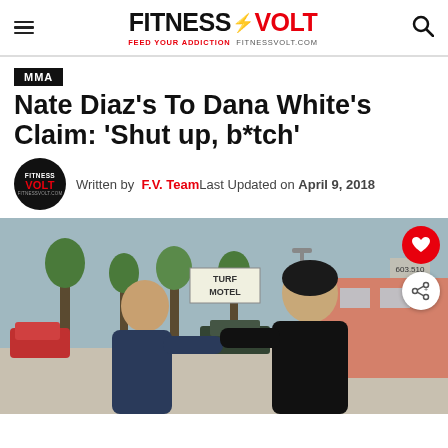FITNESS VOLT — FEED YOUR ADDICTION FITNESSVOLT.COM
MMA
Nate Diaz's To Dana White's Claim: 'Shut up, b*tch'
Written by F.V. Team Last Updated on April 9, 2018
[Figure (photo): Two men appearing to confront each other on a street sidewalk near a Turf Motel sign, with trees and parked cars in the background.]